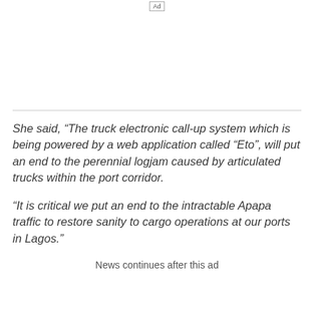[Figure (other): Ad placeholder at top of page]
She said, “The truck electronic call-up system which is being powered by a web application called “Eto”, will put an end to the perennial logjam caused by articulated trucks within the port corridor.
“It is critical we put an end to the intractable Apapa traffic to restore sanity to cargo operations at our ports in Lagos.”
News continues after this ad